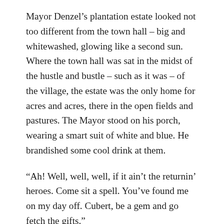Mayor Denzel’s plantation estate looked not too different from the town hall – big and whitewashed, glowing like a second sun. Where the town hall was sat in the midst of the hustle and bustle – such as it was – of the village, the estate was the only home for acres and acres, there in the open fields and pastures. The Mayor stood on his porch, wearing a smart suit of white and blue. He brandished some cool drink at them.
“Ah! Well, well, well, if it ain’t the returnin’ heroes. Come sit a spell. You’ve found me on my day off. Cubert, be a gem and go fetch the gifts.”
They sat. Gel suspected they were sitting on a veranda, but he wasn’t entirely sure what a veranda was. Out in the fields, a wizard was walking up and down the lines